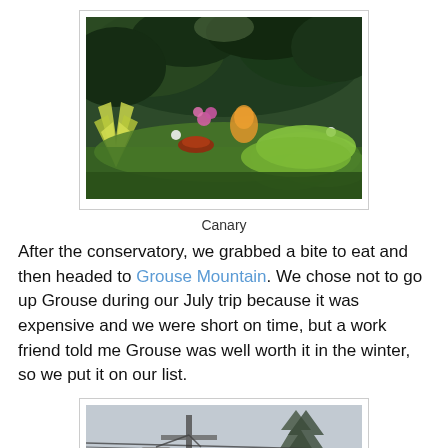[Figure (photo): Photograph of lush tropical conservatory plants including bromeliads, ferns, and pink orchid flowers with dense green foliage overhead.]
Canary
After the conservatory, we grabbed a bite to eat and then headed to Grouse Mountain. We chose not to go up Grouse during our July trip because it was expensive and we were short on time, but a work friend told me Grouse was well worth it in the winter, so we put it on our list.
[Figure (photo): Photograph showing what appears to be a ski lift or gondola structure against a grey winter sky with snow-covered trees.]